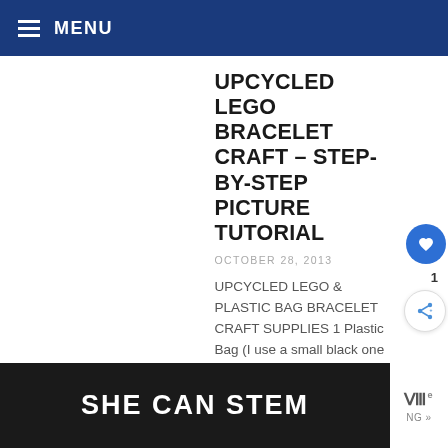MENU
UPCYCLED LEGO BRACELET CRAFT – STEP-BY-STEP PICTURE TUTORIAL
OCTOBER 28, 2013
UPCYCLED LEGO & PLASTIC BAG BRACELET CRAFT SUPPLIES 1 Plastic Bag (I use a small black one like you get for pet pickup or di... bags) 1 Flat Lego (any col... Wood Burner or...
SHE CAN STEM